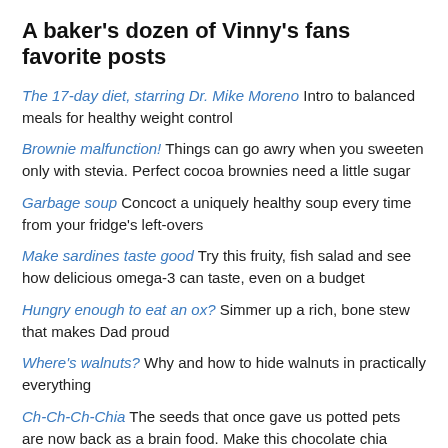A baker's dozen of Vinny's fans favorite posts
The 17-day diet, starring Dr. Mike Moreno Intro to balanced meals for healthy weight control
Brownie malfunction! Things can go awry when you sweeten only with stevia. Perfect cocoa brownies need a little sugar
Garbage soup Concoct a uniquely healthy soup every time from your fridge's left-overs
Make sardines taste good Try this fruity, fish salad and see how delicious omega-3 can taste, even on a budget
Hungry enough to eat an ox? Simmer up a rich, bone stew that makes Dad proud
Where's walnuts? Why and how to hide walnuts in practically everything
Ch-Ch-Ch-Chia The seeds that once gave us potted pets are now back as a brain food. Make this chocolate chia pudding
Lego salad towers Build them smart!